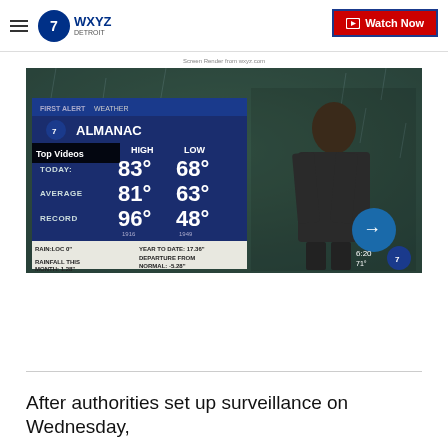WXYZ Detroit — Watch Now
Screen Render from wxyz.com
[Figure (screenshot): WXYZ Detroit First Alert Weather Almanac screen showing a weatherman. The almanac board displays: TODAY HIGH 83° LOW 68°; AVERAGE HIGH 81° LOW 63°; RECORD HIGH 96° (1916) LOW 48° (1949). Bottom row: RAIN:LOC 0" YEAR TO DATE: 17.36"; RAINFALL THIS MONTH: 1.28" DEPARTURE FROM NORMAL: -5.28". A 'Top Videos' overlay label is at upper left. The time shows 6:20, 71°.]
After authorities set up surveillance on Wednesday,